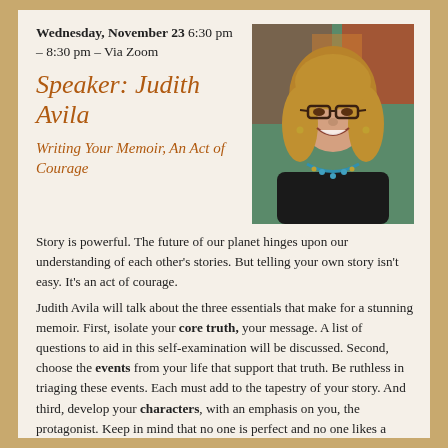Wednesday, November 23 6:30 pm – 8:30 pm  – Via Zoom
Speaker: Judith Avila
Writing Your Memoir, An Act of Courage
[Figure (photo): Headshot of Judith Avila, a woman with shoulder-length blonde hair, glasses, and a turquoise necklace, wearing a black top, smiling against a colorful background.]
Story is powerful. The future of our planet hinges upon our understanding of each other's stories. But telling your own story isn't easy. It's an act of courage.
Judith Avila will talk about the three essentials that make for a stunning memoir. First, isolate your core truth, your message. A list of questions to aid in this self-examination will be discussed.  Second, choose the events from your life that support that truth. Be ruthless in triaging these events. Each must add to the tapestry of your story. And third, develop your characters, with an emphasis on you, the protagonist. Keep in mind that no one is perfect and no one likes a perfect character